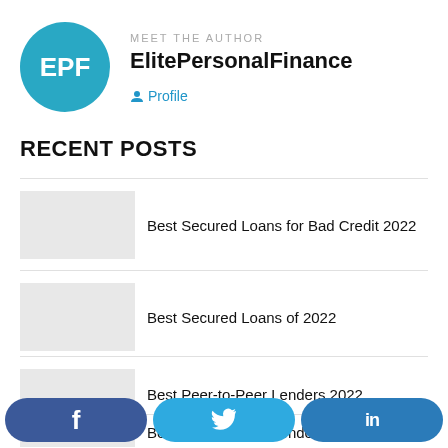MEET THE AUTHOR
ElitePersonalFinance
Profile
RECENT POSTS
Best Secured Loans for Bad Credit 2022
Best Secured Loans of 2022
Best Peer-to-Peer Lenders 2022
Best Peer-to-Peer Lenders For Bad Credit 2022